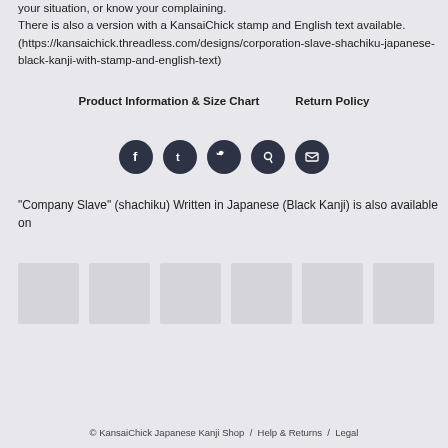your situation, or know your complaining.
There is also a version with a KansaiChick stamp and English text available.(https://kansaichick.threadless.com/designs/corporation-slave-shachiku-japanese-black-kanji-with-stamp-and-english-text)
Product Information & Size Chart    Return Policy
[Figure (other): Five dark circular social media icon buttons: Facebook, Tumblr, Twitter, Pinterest, Email]
"Company Slave" (shachiku) Written in Japanese (Black Kanji) is also available on
[Figure (other): Six light gray product thumbnail placeholder images in a row]
© KansaiChick Japanese Kanji Shop  /  Help & Returns  /  Legal